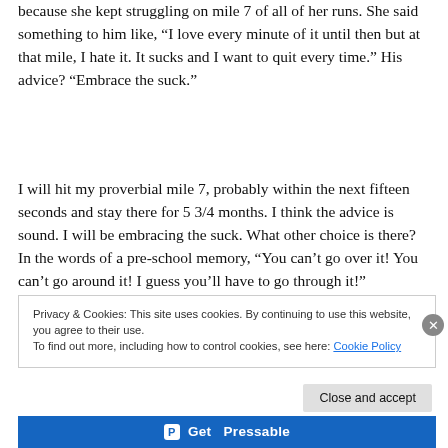because she kept struggling on mile 7 of all of her runs. She said something to him like, “I love every minute of it until then but at that mile, I hate it. It sucks and I want to quit every time.” His advice? “Embrace the suck.”
I will hit my proverbial mile 7, probably within the next fifteen seconds and stay there for 5 3/4 months. I think the advice is sound. I will be embracing the suck. What other choice is there? In the words of a pre-school memory, “You can’t go over it! You can’t go around it! I guess you’ll have to go through it!”
Privacy & Cookies: This site uses cookies. By continuing to use this website, you agree to their use.
To find out more, including how to control cookies, see here: Cookie Policy